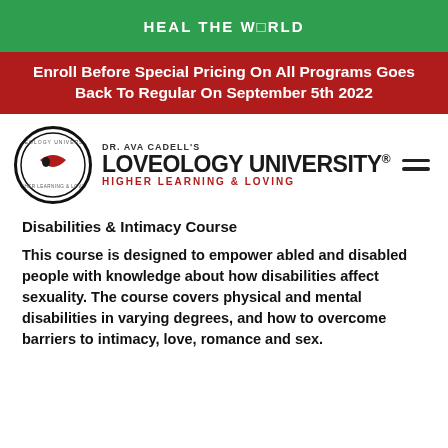HEAL THE WORLD
Enroll Before Special Pricing On All Programs Goes Back To Regular On September 5th 2022
[Figure (logo): Dr. Ava Cadell's Loveology University logo with circular emblem, text 'LOVEOLOGY UNIVERSITY®' and tagline 'HIGHER LEARNING & LOVING']
Disabilities & Intimacy Course
This course is designed to empower abled and disabled people with knowledge about how disabilities affect sexuality. The course covers physical and mental disabilities in varying degrees, and how to overcome barriers to intimacy, love, romance and sex.